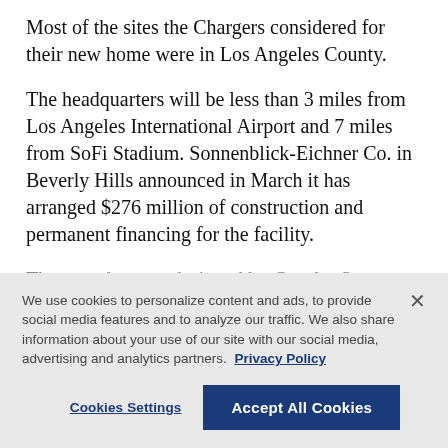Most of the sites the Chargers considered for their new home were in Los Angeles County.
The headquarters will be less than 3 miles from Los Angeles International Airport and 7 miles from SoFi Stadium. Sonnenblick-Eichner Co. in Beverly Hills announced in March it has arranged $276 million of construction and permanent financing for the facility.
The complex was designed by Gensler Sports and includes three full-size fields, along with a main building that includes team meeting rooms, training
We use cookies to personalize content and ads, to provide social media features and to analyze our traffic. We also share information about your use of our site with our social media, advertising and analytics partners. Privacy Policy
Cookies Settings
Accept All Cookies